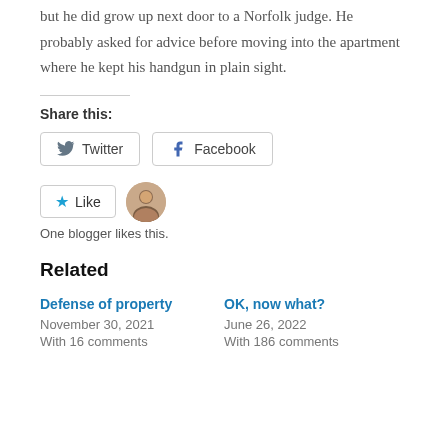but he did grow up next door to a Norfolk judge. He probably asked for advice before moving into the apartment where he kept his handgun in plain sight.
Share this:
Twitter  Facebook
Like  One blogger likes this.
Related
Defense of property
November 30, 2021
With 16 comments
OK, now what?
June 26, 2022
With 186 comments